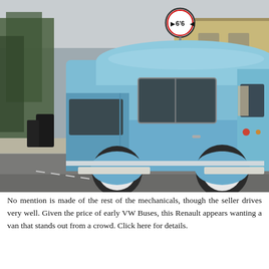[Figure (photo): A light blue vintage high-roof van (Renault) parked on a street, viewed from the rear-left side. The van has white wheels and a large rectangular side window near the top. In the background are trees, a brick building, and a road width restriction sign reading 6'6".]
No mention is made of the rest of the mechanicals, though the seller drives very well. Given the price of early VW Buses, this Renault appears wanting a van that stands out from a crowd. Click here for details.